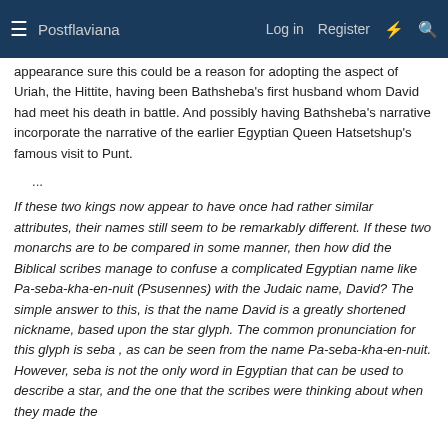≡  Postflaviana    Log in   Register   ⚡   🔍
appearance sure this could be a reason for adopting the aspect of Uriah, the Hittite, having been Bathsheba's first husband whom David had meet his death in battle. And possibly having Bathsheba's narrative incorporate the narrative of the earlier Egyptian Queen Hatsetshup's famous visit to Punt.
...
If these two kings now appear to have once had rather similar attributes, their names still seem to be remarkably different. If these two monarchs are to be compared in some manner, then how did the Biblical scribes manage to confuse a complicated Egyptian name like Pa-seba-kha-en-nuit (Psusennes) with the Judaic name, David? The simple answer to this, is that the name David is a greatly shortened nickname, based upon the star glyph. The common pronunciation for this glyph is seba , as can be seen from the name Pa-seba-kha-en-nuit. However, seba is not the only word in Egyptian that can be used to describe a star, and the one that the scribes were thinking about when they made the